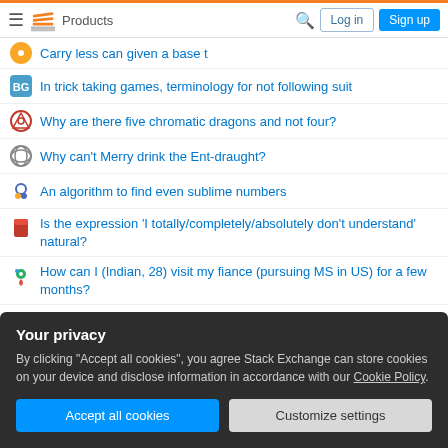≡  Products  🔍  Log in  Sign up
Carry less can given a base t
In trick taking games, terminology for not following suit
Why are there five chromatic dragons and not four?
Why can't Merry drink the Ent-draught?
An algorithm to find even sublime numbers
Is the expression 'I totally/completely/absolutely don't understand' natural?
How can I (Indian, 28) visit my fiance (pursuing MS in US) for a few months?
Question feed
Your privacy
By clicking "Accept all cookies", you agree Stack Exchange can store cookies on your device and disclose information in accordance with our Cookie Policy.
Accept all cookies  Customize settings